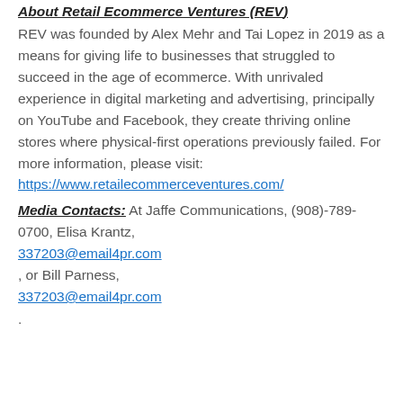About Retail Ecommerce Ventures (REV)
REV was founded by Alex Mehr and Tai Lopez in 2019 as a means for giving life to businesses that struggled to succeed in the age of ecommerce. With unrivaled experience in digital marketing and advertising, principally on YouTube and Facebook, they create thriving online stores where physical-first operations previously failed. For more information, please visit:
https://www.retailecommerceventures.com/
Media Contacts: At Jaffe Communications, (908)-789-0700, Elisa Krantz,
337203@email4pr.com
, or Bill Parness,
337203@email4pr.com
.